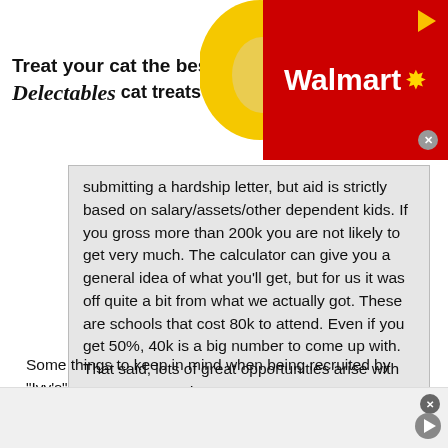[Figure (other): Advertisement banner: 'Treat your cat the best with Delectables cat treats' with cat photo, yellow heart shape, and Walmart red logo on right side]
submitting a hardship letter, but aid is strictly based on salary/assets/other dependent kids. If you gross more than 200k you are not likely to get very much. The calculator can give you a general idea of what you'll get, but for us it was off quite a bit from what we actually got. These are schools that cost 80k to attend. Even if you get 50%, 40k is a big number to come up with. That said, lots of great opportunities arise with an Ivy League degree.
Some things to keep in mind when being recruited by "Ivy's"....
Do not paint with a broad brush, each Ivy is different... and so is each recruit.
[Figure (other): Bottom advertisement strip with play/close icons]